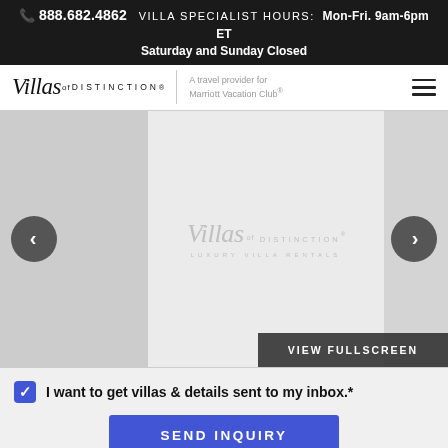📞 888.682.4862  VILLA SPECIALIST HOURS:  Mon-Fri. 9am-6pm ET  Saturday and Sunday Closed
[Figure (logo): Villas of Distinction logo with tagline 'A travel provider for Marriott Vacation Club']
[Figure (screenshot): Villas of Distinction slideshow/carousel showing logo placeholder with left and right navigation arrows and VIEW FULLSCREEN button]
I want to get villas & details sent to my inbox.*
SEND INQUIRY